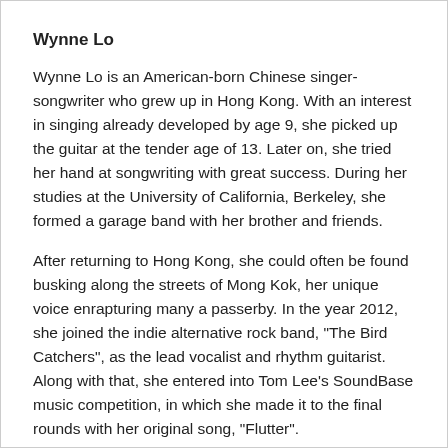Wynne Lo
Wynne Lo is an American-born Chinese singer-songwriter who grew up in Hong Kong. With an interest in singing already developed by age 9, she picked up the guitar at the tender age of 13. Later on, she tried her hand at songwriting with great success. During her studies at the University of California, Berkeley, she formed a garage band with her brother and friends.
After returning to Hong Kong, she could often be found busking along the streets of Mong Kok, her unique voice enrapturing many a passerby. In the year 2012, she joined the indie alternative rock band, "The Bird Catchers", as the lead vocalist and rhythm guitarist. Along with that, she entered into Tom Lee's SoundBase music competition, in which she made it to the final rounds with her original song, "Flutter".
TANG Yi
Independant musician Tang Yi was born in Fuzhou, Fujian. At